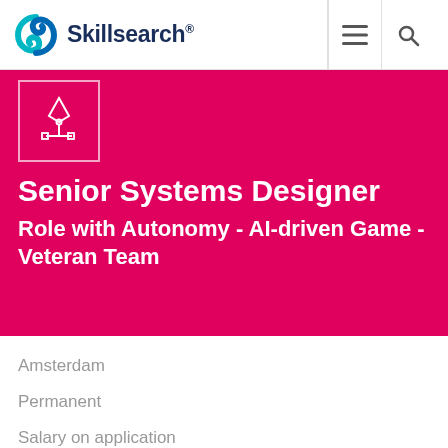Skillsearch®
[Figure (logo): Skillsearch logo with teal circular swirl icon and dark blue bold text 'Skillsearch®']
[Figure (illustration): White outline icon of a pen tool / vector design tool on a pink/magenta background, inside a square border]
Senior Systems Designer
Role with Autonomy - AI-driven Game - Veteran Team
Amsterdam
Permanent
Salary on application